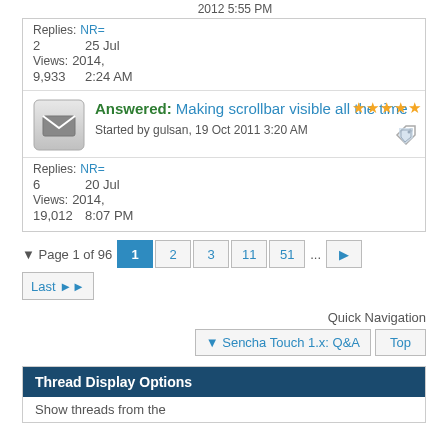2012 5:55 PM
Replies: NR=
2      25 Jul
Views: 2014,
9,933  2:24 AM
Answered: Making scrollbar visible all the time
Started by gulsan, 19 Oct 2011 3:20 AM
Replies: NR=
6      20 Jul
Views: 2014,
19,012  8:07 PM
Page 1 of 96  1  2  3  11  51  ...  Last
Quick Navigation
Sencha Touch 1.x: Q&A  Top
Thread Display Options
Show threads from the